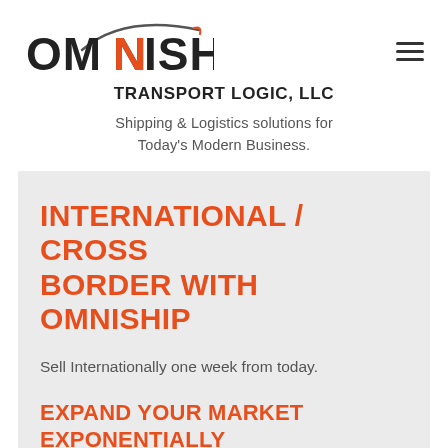[Figure (logo): Omniship Transport Logic LLC logo with swoosh graphic above the text OMNISHIP in dark gray/black bold font]
TRANSPORT LOGIC, LLC
Shipping & Logistics solutions for Today's Modern Business.
INTERNATIONAL / CROSS BORDER WITH OMNISHIP
Sell Internationally one week from today.
EXPAND YOUR MARKET EXPONENTIALLY